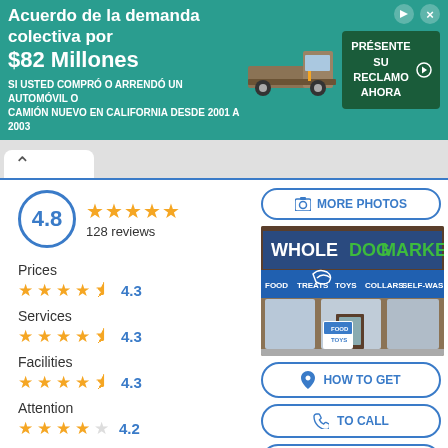[Figure (screenshot): Advertisement banner in teal/green: 'Acuerdo de la demanda colectiva por $82 Millones' with truck image and green CTA button 'PRÉSENTE SU RECLAMO AHORA']
4.8
128 reviews
Prices
4.3
Services
4.3
Facilities
4.3
Attention
4.2
Product Quality
4
[Figure (photo): Photo of Whole Dog Market store front with blue awning, green sign text, food/treats/toys/collars/self-wash labels]
MORE PHOTOS
HOW TO GET
TO CALL
WHATSAPP